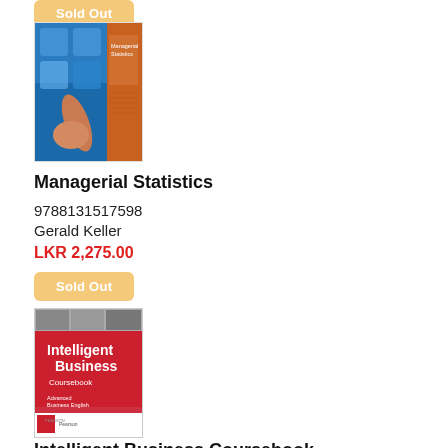[Figure (photo): Book cover of Managerial Statistics with blue digital touch interface on left and orange spine on right]
Managerial Statistics
9788131517598
Gerald Keller
LKR 2,275.00
[Figure (photo): Sold Out button (tan/gold colored rounded rectangle)]
[Figure (photo): Book cover of Intelligent Business Coursebook with red cover and small photo strip at top]
Intelligent Business Coursebook